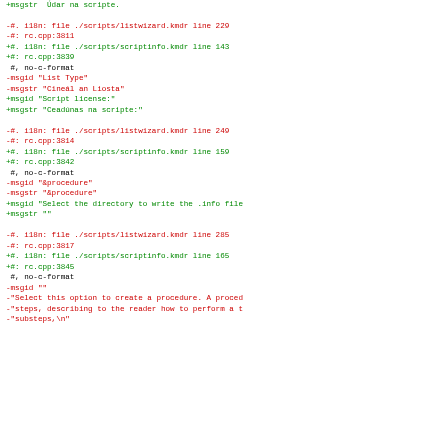+msgstr  Údar na scripte.

-#. i18n: file ./scripts/listwizard.kmdr line 229
-#: rc.cpp:3811
+#. i18n: file ./scripts/scriptinfo.kmdr line 143
+#: rc.cpp:3839
 #, no-c-format
-msgid "List Type"
-msgstr "Cineál an Liosta"
+msgid "Script license:"
+msgstr "Ceadúnas na scripte:"

-#. i18n: file ./scripts/listwizard.kmdr line 249
-#: rc.cpp:3814
+#. i18n: file ./scripts/scriptinfo.kmdr line 159
+#: rc.cpp:3842
 #, no-c-format
-msgid "&procedure"
-msgstr "&procedure"
+msgid "Select the directory to write the .info file
+msgstr ""

-#. i18n: file ./scripts/listwizard.kmdr line 285
-#: rc.cpp:3817
+#. i18n: file ./scripts/scriptinfo.kmdr line 165
+#: rc.cpp:3845
 #, no-c-format
-msgid ""
-"Select this option to create a procedure. A proced
-"steps, describing to the reader how to perform a t
-"substeps,\n"